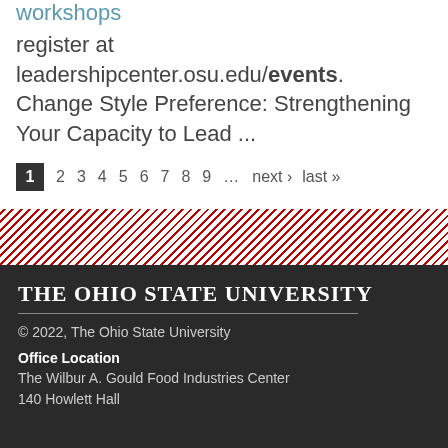workshops
register at leadershipcenter.osu.edu/events. Change Style Preference: Strengthening Your Capacity to Lead ...
1 2 3 4 5 6 7 8 9 … next › last »
[Figure (other): Diagonal red and white striped decorative banner divider]
The Ohio State University
© 2022, The Ohio State University
Office Location
The Wilbur A. Gould Food Industries Center
140 Howlett Hall